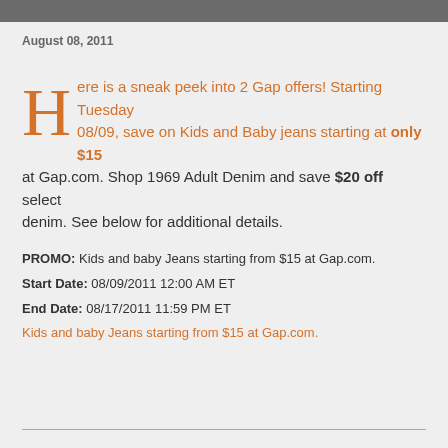August 08, 2011
Here is a sneak peek into 2 Gap offers! Starting Tuesday 08/09, save on Kids and Baby jeans starting at only $15 at Gap.com. Shop 1969 Adult Denim and save $20 off select denim. See below for additional details.
PROMO: Kids and baby Jeans starting from $15 at Gap.com.
Start Date: 08/09/2011 12:00 AM ET
End Date: 08/17/2011 11:59 PM ET
Kids and baby Jeans starting from $15 at Gap.com.